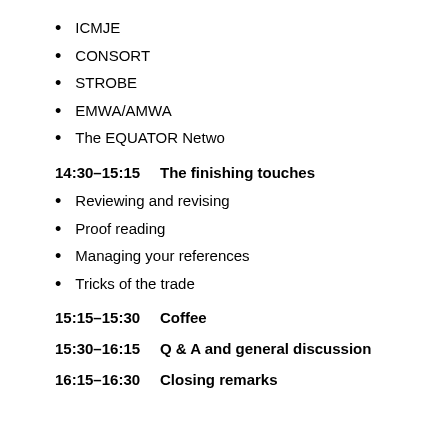ICMJE
CONSORT
STROBE
EMWA/AMWA
The EQUATOR Netwo
14:30–15:15    The finishing touches
Reviewing and revising
Proof reading
Managing your references
Tricks of the trade
15:15–15:30    Coffee
15:30–16:15    Q & A and general discussion
16:15–16:30    Closing remarks